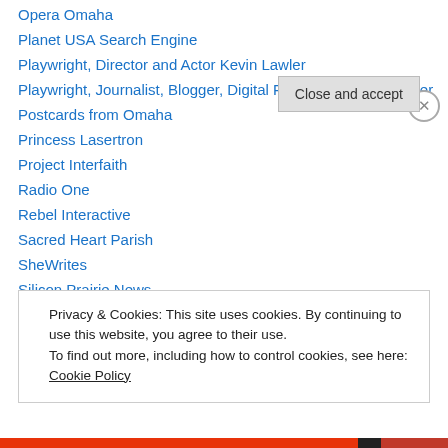Opera Omaha
Planet USA Search Engine
Playwright, Director and Actor Kevin Lawler
Playwright, Journalist, Blogger, Digital Filmmaker Max Sparber
Postcards from Omaha
Princess Lasertron
Project Interfaith
Radio One
Rebel Interactive
Sacred Heart Parish
SheWrites
Silicon Prairie News
Spirit of Omaha
Privacy & Cookies: This site uses cookies. By continuing to use this website, you agree to their use.
To find out more, including how to control cookies, see here: Cookie Policy
Close and accept